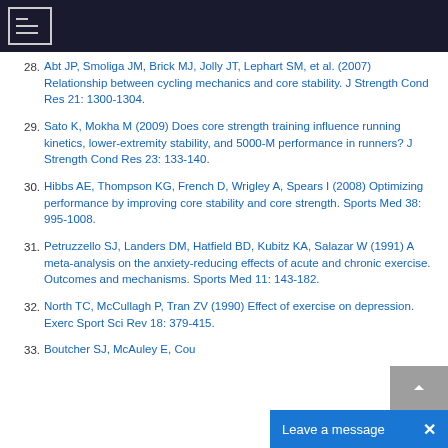navigation bar
28. Abt JP, Smoliga JM, Brick MJ, Jolly JT, Lephart SM, et al. (2007) Relationship between cycling mechanics and core stability. J Strength Cond Res 21: 1300-1304.
29. Sato K, Mokha M (2009) Does core strength training influence running kinetics, lower-extremity stability, and 5000-M performance in runners? J Strength Cond Res 23: 133-140.
30. Hibbs AE, Thompson KG, French D, Wrigley A, Spears I (2008) Optimizing performance by improving core stability and core strength. Sports Med 38: 995-1008.
31. Petruzzello SJ, Landers DM, Hatfield BD, Kubitz KA, Salazar W (1991) A meta-analysis on the anxiety-reducing effects of acute and chronic exercise. Outcomes and mechanisms. Sports Med 11: 143-182.
32. North TC, McCullagh P, Tran ZV (1990) Effect of exercise on depression. Exerc Sport Sci Rev 18: 379-415.
33. Boutcher SJ, McAuley E, Coup...